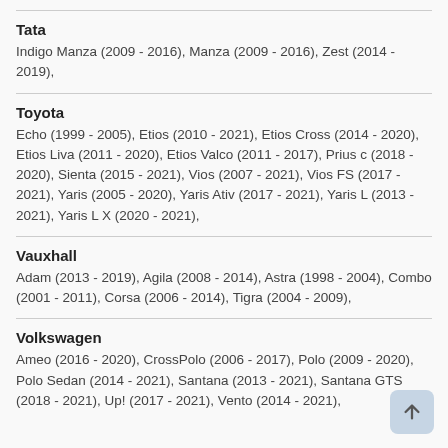Tata
Indigo Manza (2009 - 2016), Manza (2009 - 2016), Zest (2014 - 2019),
Toyota
Echo (1999 - 2005), Etios (2010 - 2021), Etios Cross (2014 - 2020), Etios Liva (2011 - 2020), Etios Valco (2011 - 2017), Prius c (2018 - 2020), Sienta (2015 - 2021), Vios (2007 - 2021), Vios FS (2017 - 2021), Yaris (2005 - 2020), Yaris Ativ (2017 - 2021), Yaris L (2013 - 2021), Yaris L X (2020 - 2021),
Vauxhall
Adam (2013 - 2019), Agila (2008 - 2014), Astra (1998 - 2004), Combo (2001 - 2011), Corsa (2006 - 2014), Tigra (2004 - 2009),
Volkswagen
Ameo (2016 - 2020), CrossPolo (2006 - 2017), Polo (2009 - 2020), Polo Sedan (2014 - 2021), Santana (2013 - 2021), Santana GTS (2018 - 2021), Up! (2017 - 2021), Vento (2014 - 2021),